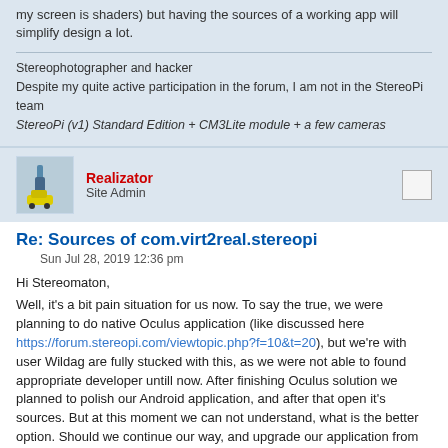my screen is shaders) but having the sources of a working app will simplify design a lot.
Stereophotographer and hacker
Despite my quite active participation in the forum, I am not in the StereoPi team
StereoPi (v1) Standard Edition + CM3Lite module + a few cameras
Realizator
Site Admin
Re: Sources of com.virt2real.stereopi
Sun Jul 28, 2019 12:36 pm
Hi Stereomaton,
Well, it's a bit pain situation for us now. To say the true, we were planning to do native Oculus application (like discussed here https://forum.stereopi.com/viewtopic.php?f=10&t=20), but we're with user Wildag are fully stucked with this, as we were not able to found appropriate developer untill now. After finishing Oculus solution we planned to polish our Android application, and after that open it's sources. But at this moment we can not understand, what is the better option. Should we continue our way, and upgrade our application from proof-of-concept, and open source after that? Or should we just open sources "as is"?.. I don't know.
Sterteomaton, what do you think on this?